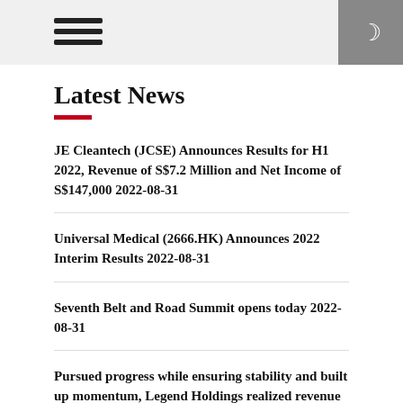Latest News
JE Cleantech (JCSE) Announces Results for H1 2022, Revenue of S$7.2 Million and Net Income of S$147,000 2022-08-31
Universal Medical (2666.HK) Announces 2022 Interim Results 2022-08-31
Seventh Belt and Road Summit opens today 2022-08-31
Pursued progress while ensuring stability and built up momentum, Legend Holdings realized revenue of RMB237,685 million in the first half of 2022 2022-08-31
Get Half Baycd: The Future of Web3 Cannabis 2022-08-31